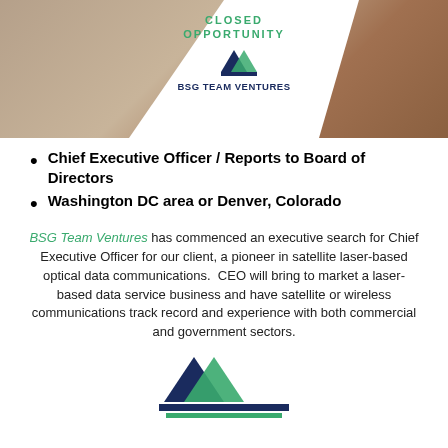[Figure (logo): BSG Team Ventures banner with 'CLOSED OPPORTUNITY' text and logo on a diamond/trapezoid white overlay on a wood/furniture background photo]
Chief Executive Officer / Reports to Board of Directors
Washington DC area or Denver, Colorado
BSG Team Ventures has commenced an executive search for Chief Executive Officer for our client, a pioneer in satellite laser-based optical data communications. CEO will bring to market a laser-based data service business and have satellite or wireless communications track record and experience with both commercial and government sectors.
[Figure (logo): BSG Team Ventures logo — two overlapping triangles in dark blue and green above the text 'BSG TEAM VENTURES' and 'LEADERSHIP FOR INNOVATION']